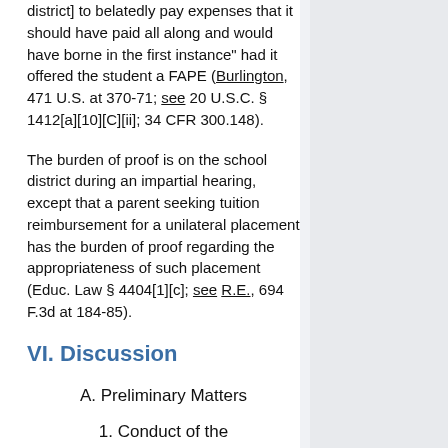district] to belatedly pay expenses that it should have paid all along and would have borne in the first instance" had it offered the student a FAPE (Burlington, 471 U.S. at 370-71; see 20 U.S.C. § 1412[a][10][C][ii]; 34 CFR 300.148).
The burden of proof is on the school district during an impartial hearing, except that a parent seeking tuition reimbursement for a unilateral placement has the burden of proof regarding the appropriateness of such placement (Educ. Law § 4404[1][c]; see R.E., 694 F.3d at 184-85).
VI. Discussion
A. Preliminary Matters
1. Conduct of the Impartial Hearing